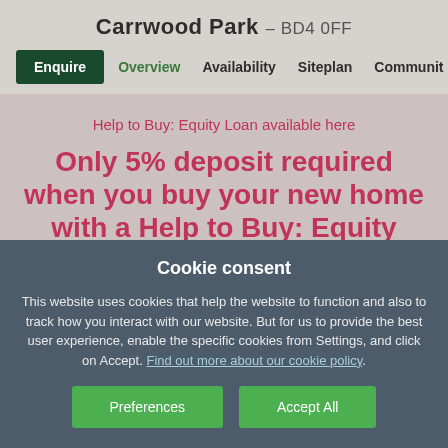Carrwood Park – BD4 0FF
Enquire  Overview  Availability  Siteplan  Community
Help to Buy: Equity Loan available here
Only 5% deposit required when you buy your new home with a Help to Buy: Equity Loan*.
Cookie consent
This website uses cookies that help the website to function and also to track how you interact with our website. But for us to provide the best user experience, enable the specific cookies from Settings, and click on Accept. Find out more about our cookie policy.
Preferences
Accept All